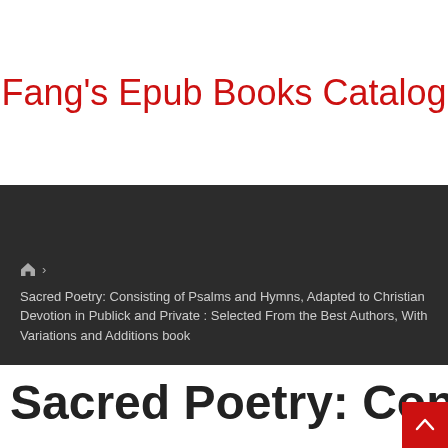Fang's Epub Books Catalog
🏠 › Sacred Poetry: Consisting of Psalms and Hymns, Adapted to Christian Devotion in Publick and Private : Selected From the Best Authors, With Variations and Additions book
Sacred Poetry: Consistin